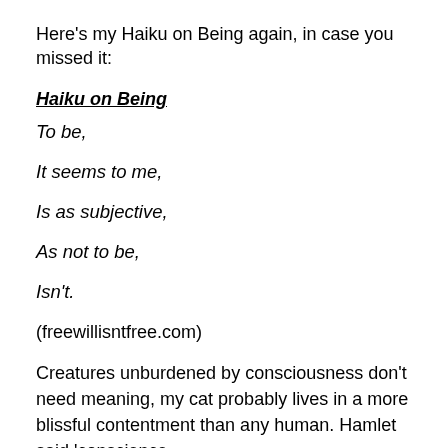Here's my Haiku on Being again, in case you missed it:
Haiku on Being
To be,
It seems to me,
Is as subjective,
As not to be,
Isn't.
(freewillisntfree.com)
Creatures unburdened by consciousness don't need meaning, my cat probably lives in a more blissful contentment than any human. Hamlet said 'conscience